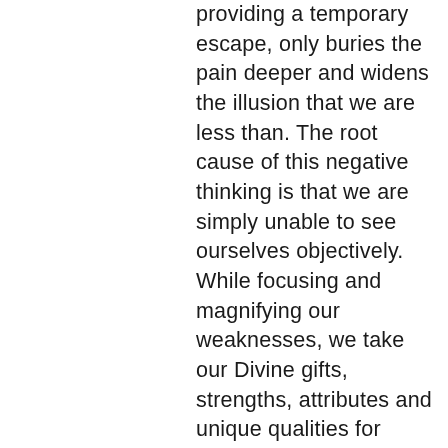providing a temporary escape, only buries the pain deeper and widens the illusion that we are less than. The root cause of this negative thinking is that we are simply unable to see ourselves objectively. While focusing and magnifying our weaknesses, we take our Divine gifts, strengths, attributes and unique qualities for granted. We compare ourselves to others, who we believe have it all together, but if we were to walk for a day in their shoes, we would see that they too have their inner battles and demons to struggle with as well.
We are Soul, Divine beings having a flawed human experience. We are all unique pieces of our Creator's artwork